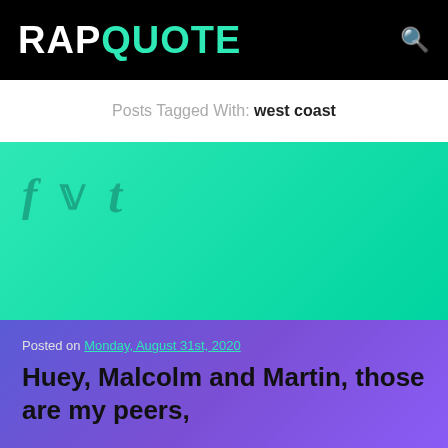RAPQUOTE
Posts Tagged With: west coast
[Figure (other): Social share icons: Facebook (f), Twitter (bird), Tumblr (t) on teal/green gradient background]
Posted on Monday, August 31st, 2020
Huey, Malcolm and Martin, those are my peers,